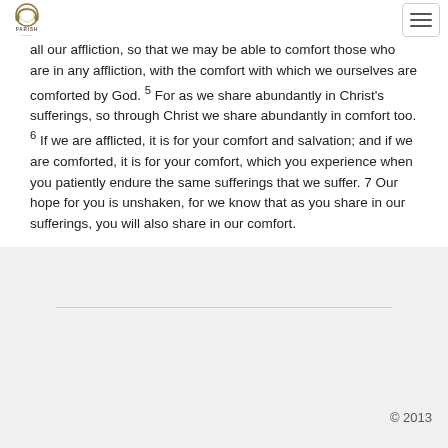Parish
all our affliction, so that we may be able to comfort those who are in any affliction, with the comfort with which we ourselves are comforted by God. 5 For as we share abundantly in Christ's sufferings, so through Christ we share abundantly in comfort too. 6 If we are afflicted, it is for your comfort and salvation; and if we are comforted, it is for your comfort, which you experience when you patiently endure the same sufferings that we suffer. 7 Our hope for you is unshaken, for we know that as you share in our sufferings, you will also share in our comfort.
© 2013